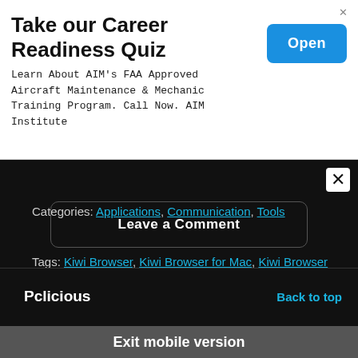[Figure (screenshot): Advertisement banner: Take our Career Readiness Quiz with Open button]
Categories: Applications, Communication, Tools
Tags: Kiwi Browser, Kiwi Browser for Mac, Kiwi Browser for Windows 10/8/7, Kiwi Browser PC Download
Leave a Comment
Pclicious
Back to top
Exit mobile version